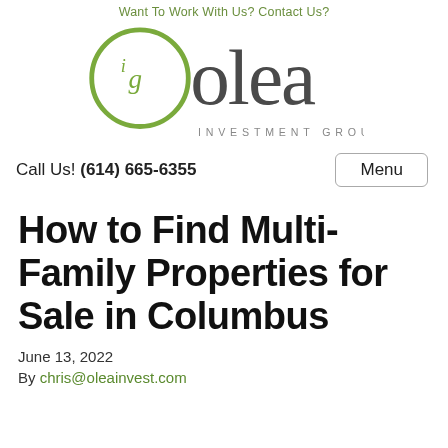Want To Work With Us? Contact Us?
[Figure (logo): Olea Investment Group logo — green circular 'ig' monogram on left, 'olea' in large dark gray serif text, 'INVESTMENT GROUP' in small gray spaced capitals below]
Call Us! (614) 665-6355
Menu
How to Find Multi-Family Properties for Sale in Columbus
June 13, 2022
By chris@oleainvest.com